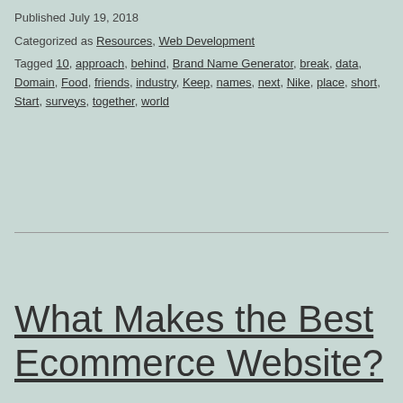Published July 19, 2018
Categorized as Resources, Web Development
Tagged 10, approach, behind, Brand Name Generator, break, data, Domain, Food, friends, industry, Keep, names, next, Nike, place, short, Start, surveys, together, world
What Makes the Best Ecommerce Website?